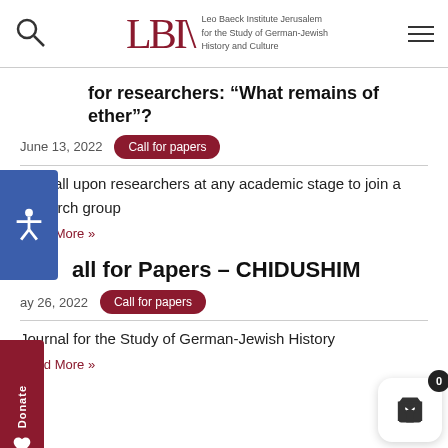LBI | Leo Baeck Institute Jerusalem for the Study of German-Jewish History and Culture
Call for researchers: “What remains of … ether”?
June 13, 2022   Call for papers
We call upon researchers at any academic stage to join a research group
Read More »
Call for Papers – CHIDUSHIM
May 26, 2022   Call for papers
Journal for the Study of German-Jewish History
Read More »